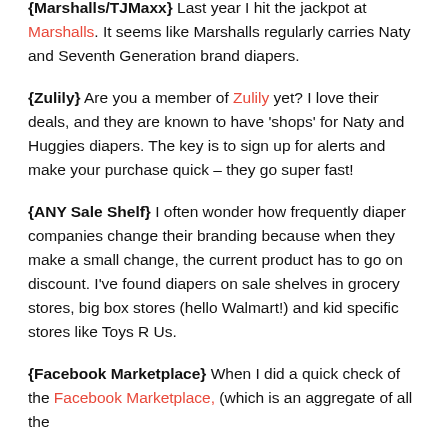{Marshalls/TJMaxx} Last year I hit the jackpot at Marshalls. It seems like Marshalls regularly carries Naty and Seventh Generation brand diapers.
{Zulily} Are you a member of Zulily yet? I love their deals, and they are known to have 'shops' for Naty and Huggies diapers. The key is to sign up for alerts and make your purchase quick – they go super fast!
{ANY Sale Shelf} I often wonder how frequently diaper companies change their branding because when they make a small change, the current product has to go on discount. I've found diapers on sale shelves in grocery stores, big box stores (hello Walmart!) and kid specific stores like Toys R Us.
{Facebook Marketplace} When I did a quick check of the Facebook Marketplace, (which is an aggregate of all the